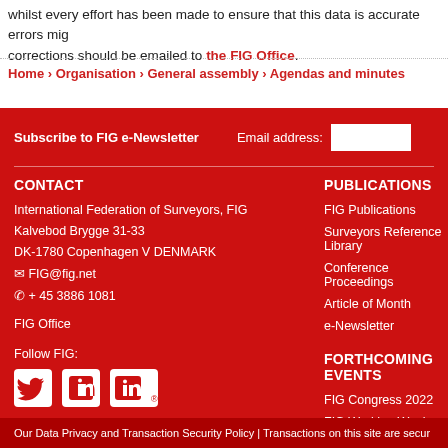whilst every effort has been made to ensure that this data is accurate errors might occur. corrections should be emailed to the FIG Office.
Home › Organisation › General assembly › Agendas and minutes
Subscribe to FIG e-Newsletter — Email address:
CONTACT
International Federation of Surveyors, FIG
Kalvebod Brygge 31-33
DK-1780 Copenhagen V DENMARK
FIG@fig.net
+ 45 3886 1081
FIG Office
PUBLICATIONS
FIG Publications
Surveyors Reference Library
Conference Proceedings
Article of Month
e-Newsletter
FORTHCOMING EVENTS
FIG Congress 2022
FIG Working Week 2023
All Forthcoming Events
Follow FIG:
Our Data Privacy and Transaction Security Policy | Transactions on this site are secur